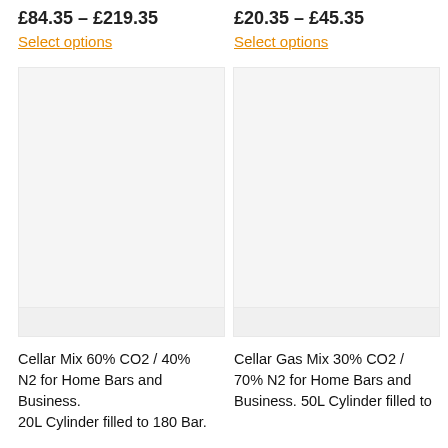£84.35 – £219.35
Select options
£20.35 – £45.35
Select options
[Figure (photo): Product image placeholder for Cellar Mix 60% CO2 / 40% N2 cylinder]
[Figure (photo): Product image placeholder for Cellar Gas Mix 30% CO2 / 70% N2 cylinder]
Cellar Mix 60% CO2 / 40% N2 for Home Bars and Business. 20L Cylinder filled to 180 Bar.
Cellar Gas Mix 30% CO2 / 70% N2 for Home Bars and Business. 50L Cylinder filled to